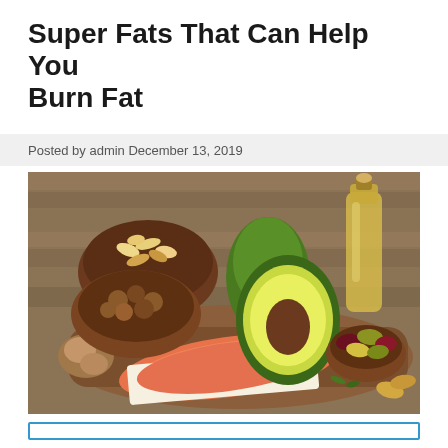Super Fats That Can Help You Burn Fat
Posted by admin December 13, 2019
[Figure (photo): Food photograph on a wooden cutting board featuring healthy fat sources: nuts and cashews in wooden bowls, a halved avocado with pit, a glass bottle of olive oil, a salmon fillet on parchment, olives in a small wooden bowl, and walnuts, arranged on a rustic wood plank surface.]